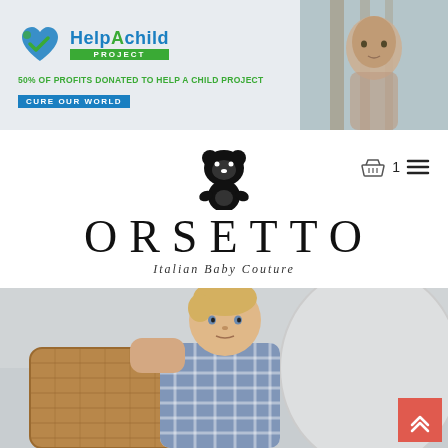[Figure (logo): Help A Child Project banner with logo, tagline '50% OF PROFITS DONATED TO HELP A CHILD PROJECT', 'CURE OUR WORLD' button, and photo of child on right]
[Figure (logo): Orsetto Italian Baby Couture logo - black bear silhouette above large ORSETTO text with 'Italian Baby Couture' subtitle, shopping basket icon and menu icon on right]
[Figure (photo): Photo of a blonde toddler boy in blue gingham/plaid shirt leaning on a wicker basket, bottom section hero image]